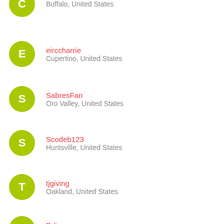C — Buffalo, United States
eirccharrie — Cupertino, United States
SabresFan — Oro Valley, United States
Scodeb123 — Huntsville, United States
tjgiving — Oakland, United States
Ddimov — Sofia, Bulgaria